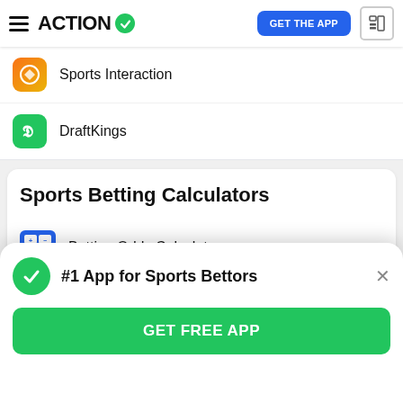ACTION — GET THE APP
Sports Interaction
DraftKings
Sports Betting Calculators
Betting Odds Calculator
Odds Value Calculator
#1 App for Sports Bettors
GET FREE APP